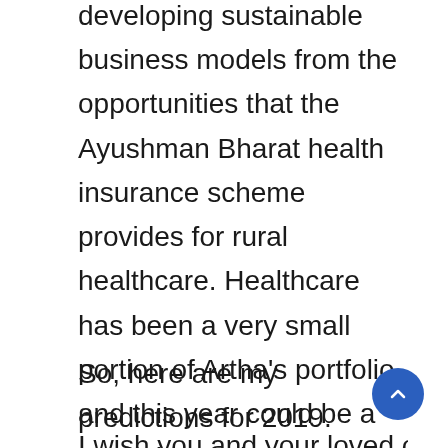developing sustainable business models from the opportunities that the Ayushman Bharat health insurance scheme provides for rural healthcare. Healthcare has been a very small portion of Artha’s portfolio and this year could be a good time to increase our exposure in the space.
So, here are my predictions for 2019.
I wish you and your loved ones a